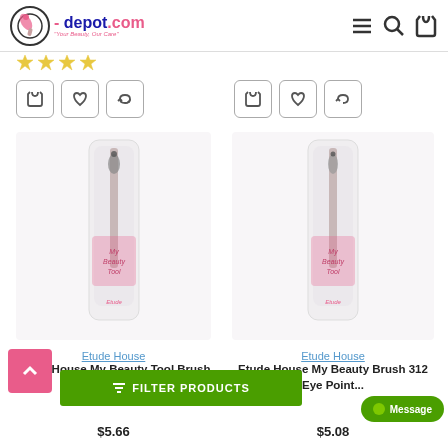[Figure (logo): q-depot.com beauty website logo with tagline 'Your Beauty, Our Care']
[Figure (illustration): Star ratings (4 gold stars) for left product]
[Figure (illustration): Action buttons (cart, wishlist, compare) for left product]
[Figure (illustration): Action buttons (cart, wishlist, compare) for right product]
[Figure (photo): Etude House My Beauty Tool Brush product image in packaging - left product]
[Figure (photo): Etude House My Beauty Tool Brush product image in packaging - right product]
Etude House
Etude House
Etude House My Beauty Tool Brush 3...Base...
Etude House My Beauty Tool Brush 312 Eye Point...
$5.66
$5.08
[Figure (illustration): Back to top arrow button (pink)]
[Figure (illustration): Filter Products button (green)]
[Figure (illustration): Message button (green)]